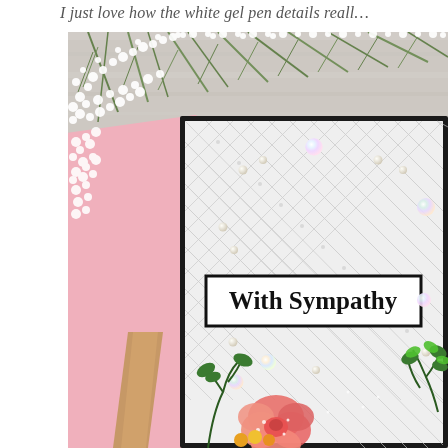I just love how the white gel pen details reall…
[Figure (photo): Close-up photo of a handmade sympathy card with quilted embossing, pearl/sequin embellishments, 'With Sympathy' sentiment in a black-bordered label, and floral decorations at the bottom. The card has a black mat and white embossed panel. In the background are baby's breath flowers, a pink card, and a wooden surface.]